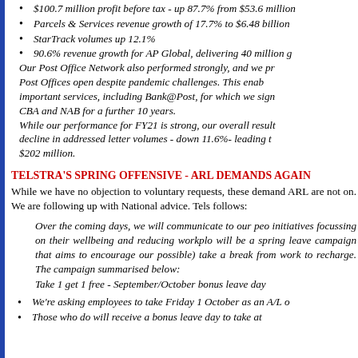$100.7 million profit before tax - up 87.7% from $53.6 million
Parcels & Services revenue growth of 17.7% to $6.48 billion
StarTrack volumes up 12.1%
90.6% revenue growth for AP Global, delivering 40 million g Our Post Office Network also performed strongly, and we pr Post Offices open despite pandemic challenges. This enab important services, including Bank@Post, for which we sign CBA and NAB for a further 10 years. While our performance for FY21 is strong, our overall result decline in addressed letter volumes - down 11.6%- leading t $202 million.
TELSTRA'S SPRING OFFENSIVE - ARL DEMANDS AGAIN
While we have no objection to voluntary requests, these demand ARL are not on. We are following up with National advice. Tels follows:
Over the coming days, we will communicate to our peo initiatives focussing on their wellbeing and reducing workplo will be a spring leave campaign that aims to encourage our possible) take a break from work to recharge. The campaign summarised below: Take 1 get 1 free - September/October bonus leave day
We're asking employees to take Friday 1 October as an A/L o
Those who do will receive a bonus leave day to take at